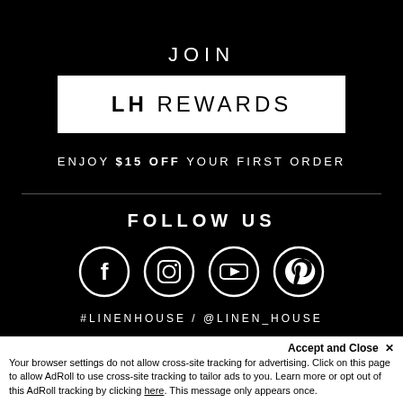JOIN
LH REWARDS
ENJOY $15 OFF YOUR FIRST ORDER
FOLLOW US
[Figure (illustration): Four social media icons in white circles on black background: Facebook, Instagram, YouTube, Pinterest]
#LINENHOUSE / @LINEN_HOUSE
Accept and Close ✕
Your browser settings do not allow cross-site tracking for advertising. Click on this page to allow AdRoll to use cross-site tracking to tailor ads to you. Learn more or opt out of this AdRoll tracking by clicking here. This message only appears once.